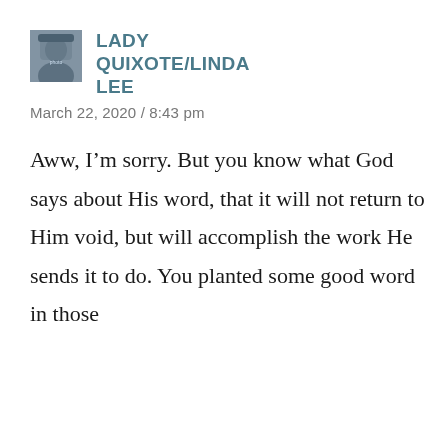[Figure (photo): Small avatar photo of Lady Quixote/Linda Lee, a person outdoors wearing a hat]
LADY QUIXOTE/LINDA LEE
March 22, 2020 / 8:43 pm
Aww, I’m sorry. But you know what God says about His word, that it will not return to Him void, but will accomplish the work He sends it to do. You planted some good word in those